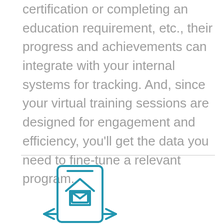certification or completing an education requirement, etc., their progress and achievements can integrate with your internal systems for tracking. And, since your virtual training sessions are designed for engagement and efficiency, you'll get the data you need to fine-tune a relevant program.
[Figure (illustration): A teal/blue line icon of a mobile phone or tablet displaying a house/home symbol with an envelope/message icon below it, and two arrow-like shapes pointing outward on the left and right sides at the bottom]